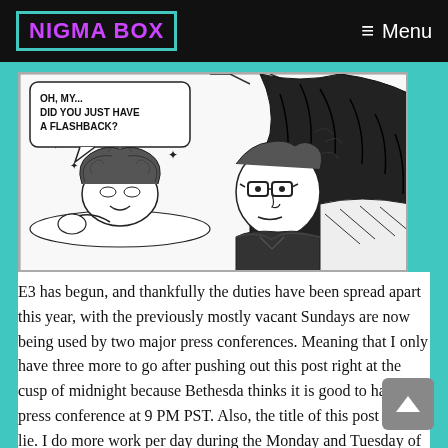NIGMA BOX  ≡ Menu
[Figure (illustration): Black and white manga/comic panel showing two characters. Speech bubble reads: 'OH, MY... DID YOU JUST HAVE A FLASHBACK?' One character appears to be lying down with stars around them, the other is a character with glasses and dark hair looking at them.]
E3 has begun, and thankfully the duties have been spread apart this year, with the previously mostly vacant Sundays are now being used by two major press conferences. Meaning that I only have three more to go after pushing out this post right at the cusp of midnight because Bethesda thinks it is good to have a press conference at 9 PM PST. Also, the title of this post is not a lie. I do more work per day during the Monday and Tuesday of E3 than I do during any other time during the year. Especially this year, as I have to work and attend class while E3 is going on. Anyways, on with the rundown.